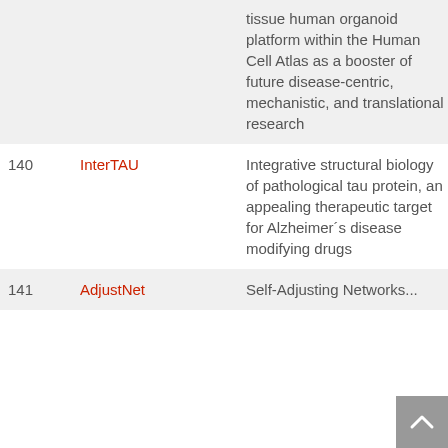| # | Name | Description | Year |
| --- | --- | --- | --- |
|  |  | tissue human organoid platform within the Human Cell Atlas as a booster of future disease-centric, mechanistic, and translational research |  |
| 140 | InterTAU | Integrative structural biology of pathological tau protein, an appealing therapeutic target for Alzheimer´s disease modifying drugs | 20... |
| 141 | AdjustNet | Self-Adjusting Networks... | 20... |